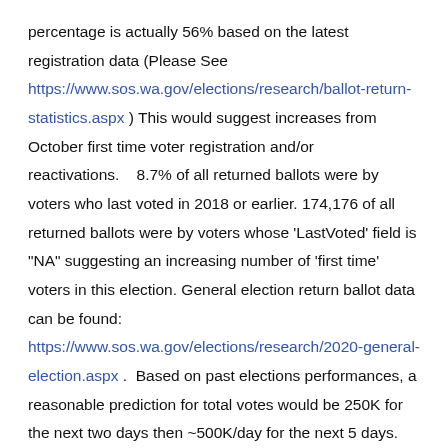percentage is actually 56% based on the latest registration data (Please See https://www.sos.wa.gov/elections/research/ballot-return-statistics.aspx ) This would suggest increases from October first time voter registration and/or reactivations.    8.7% of all returned ballots were by voters who last voted in 2018 or earlier. 174,176 of all returned ballots were by voters whose 'LastVoted' field is "NA" suggesting an increasing number of 'first time' voters in this election. General election return ballot data can be found: https://www.sos.wa.gov/elections/research/2020-general-election.aspx .  Based on past elections performances, a reasonable prediction for total votes would be 250K for the next two days then ~500K/day for the next 5 days. However, such a prediction would result in 5.25M returned ballots. Current total voters for this election are 4,866,924, although registrations will continue through election. Regardless of this comment, turnout will likely be record setting for every